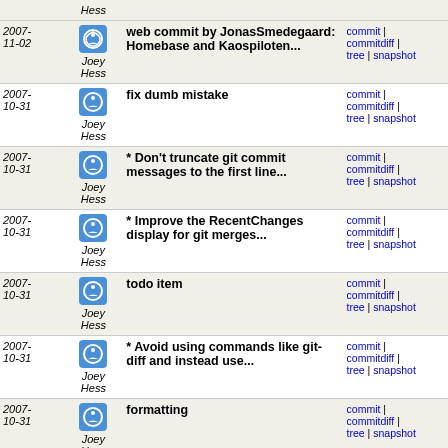| Date | Author | Message | Links |
| --- | --- | --- | --- |
| 2007-11-02 | Joey Hess | web commit by JonasSmedegaard: Homebase and Kaospiloten... | commit | commitdiff | tree | snapshot |
| 2007-10-31 | Joey Hess | fix dumb mistake | commit | commitdiff | tree | snapshot |
| 2007-10-31 | Joey Hess | * Don't truncate git commit messages to the first line... | commit | commitdiff | tree | snapshot |
| 2007-10-31 | Joey Hess | * Improve the RecentChanges display for git merges... | commit | commitdiff | tree | snapshot |
| 2007-10-31 | Joey Hess | todo item | commit | commitdiff | tree | snapshot |
| 2007-10-31 | Joey Hess | * Avoid using commands like git-diff and instead use... | commit | commitdiff | tree | snapshot |
| 2007-10-31 | Joey Hess | formatting | commit | commitdiff | tree | snapshot |
| 2007-10-31 | Joey Hess | Merge branch 'master' of ssh://git.kitenet.net/srv... | commit | commitdiff | tree | snapshot |
| 2007-10-31 | Joey Hess | * Avoid a race in the git rcs_commit function, by not... | commit | commitdiff | tree | snapshot |